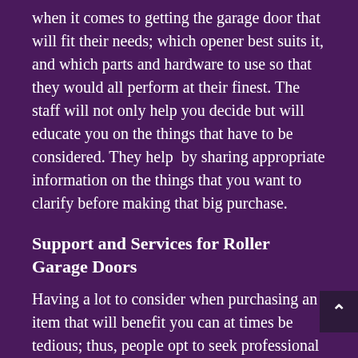when it comes to getting the garage door that will fit their needs; which opener best suits it, and which parts and hardware to use so that they would all perform at their finest. The staff will not only help you decide but will educate you on the things that have to be considered. They help  by sharing appropriate information on the things that you want to clarify before making that big purchase.
Support and Services for Roller Garage Doors
Having a lot to consider when purchasing an item that will benefit you can at times be tedious; thus, people opt to seek professional advice as they know they are well trained on the job and know the bits and pieces that need to be taken into account before making a decision. Through Ultra Garage Doors Repair, you can be rest assured that you can make the right decision.